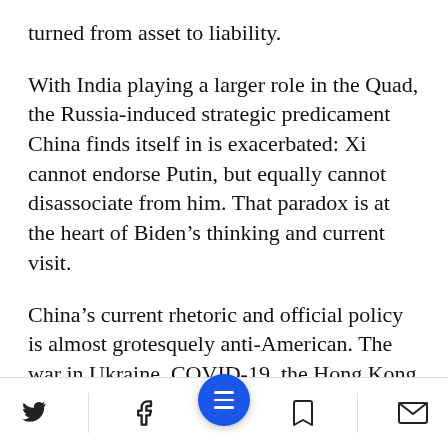turned from asset to liability.
With India playing a larger role in the Quad, the Russia-induced strategic predicament China finds itself in is exacerbated: Xi cannot endorse Putin, but equally cannot disassociate from him. That paradox is at the heart of Biden’s thinking and current visit.
China’s current rhetoric and official policy is almost grotesquely anti-American. The war in Ukraine, COVID-19, the Hong Kong uprising, the Uyghur minority, Tibetans, polluting Chinese youth with de…lent culture:
Twitter | Facebook | Menu | Bookmark | Email